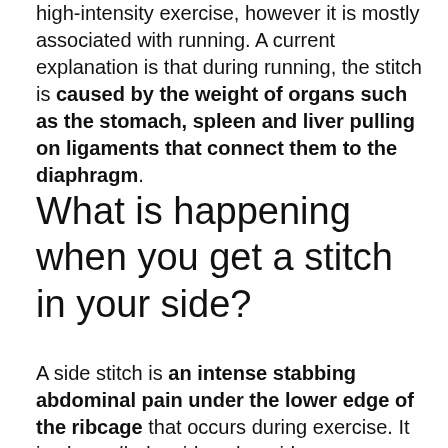high-intensity exercise, however it is mostly associated with running. A current explanation is that during running, the stitch is caused by the weight of organs such as the stomach, spleen and liver pulling on ligaments that connect them to the diaphragm.
What is happening when you get a stitch in your side?
A side stitch is an intense stabbing abdominal pain under the lower edge of the ribcage that occurs during exercise. It is also called a side ache, side cramp, muscle stitch, or simply stitch, and the medical term